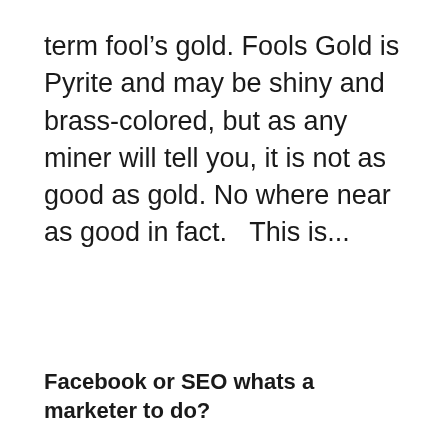term fool's gold. Fools Gold is Pyrite and may be shiny and brass-colored, but as any miner will tell you, it is not as good as gold. No where near as good in fact.   This is...
Facebook or SEO whats a marketer to do?